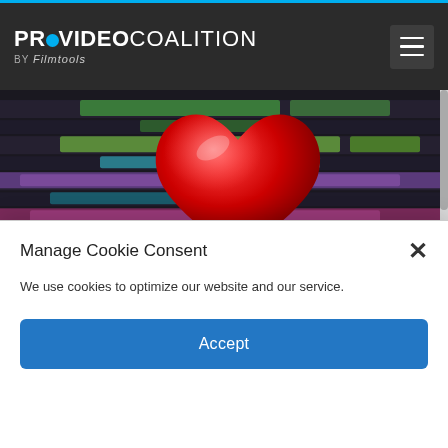PROVIDEO COALITION BY Filmtools
[Figure (screenshot): Article hero image showing Adobe Premiere Pro timeline editor with a large red heart emoji overlay. Text overlay shows '1 Month Ago' in blue and article title 'My single most loved feature in Adobe Premiere Pro' in white bold text.]
[Figure (photo): Thumbnail photo of a Panasonic Lumix GH6 camera close-up]
POST PRODUCTION
Review: Panasonic Lumix GH6
Manage Cookie Consent
We use cookies to optimize our website and our service.
Accept